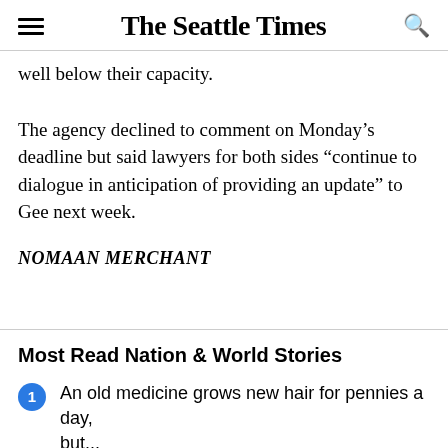The Seattle Times
well below their capacity.
The agency declined to comment on Monday's deadline but said lawyers for both sides “continue to dialogue in anticipation of providing an update” to Gee next week.
NOMAAN MERCHANT
Most Read Nation & World Stories
An old medicine grows new hair for pennies a day, but...